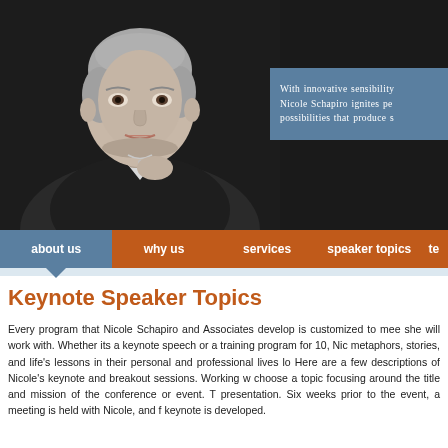[Figure (photo): Black and white portrait photo of Nicole Schapiro, a woman with short light hair wearing a dark blazer and white collared shirt, posed against a dark background.]
With innovative sensibility Nicole Schapiro ignites pe possibilities that produce s
about us   why us   services   speaker topics   te
Keynote Speaker Topics
Every program that Nicole Schapiro and Associates develop is customized to mee she will work with. Whether its a keynote speech or a training program for 10, Nic metaphors, stories, and life's lessons in their personal and professional lives lo Here are a few descriptions of Nicole's keynote and breakout sessions. Working w choose a topic focusing around the title and mission of the conference or event. T presentation. Six weeks prior to the event, a meeting is held with Nicole, and f keynote is developed.